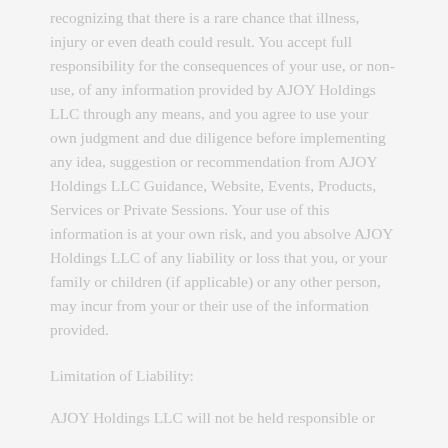recognizing that there is a rare chance that illness, injury or even death could result. You accept full responsibility for the consequences of your use, or non-use, of any information provided by AJOY Holdings LLC through any means, and you agree to use your own judgment and due diligence before implementing any idea, suggestion or recommendation from AJOY Holdings LLC Guidance, Website, Events, Products, Services or Private Sessions. Your use of this information is at your own risk, and you absolve AJOY Holdings LLC of any liability or loss that you, or your family or children (if applicable) or any other person, may incur from your or their use of the information provided.
Limitation of Liability:
AJOY Holdings LLC will not be held responsible or